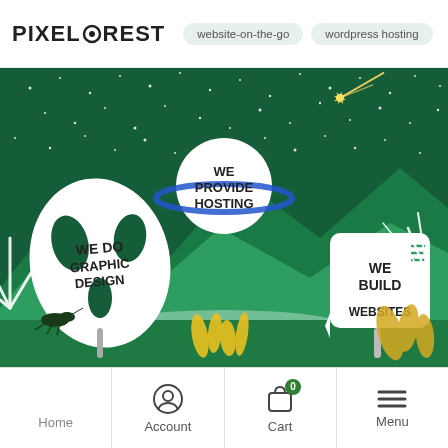PIXELFOREST | website-on-the-go | wordpress hosting | graph...
[Figure (illustration): Illustrated hero banner with dark green night-sky background, white stars, tropical jungle plants, mountains. Three signs read: 'WE DO GRAPHIC DESIGN' on a large monstera leaf, 'WE PROVIDE HOSTING' on a planet with rings, 'WE BUILD WEBSITES' on a white signboard. Yellow plants and a grasshopper in the foreground. Yellow shooting star in top right.]
Pixel Forest
Home | Account | Cart | Menu